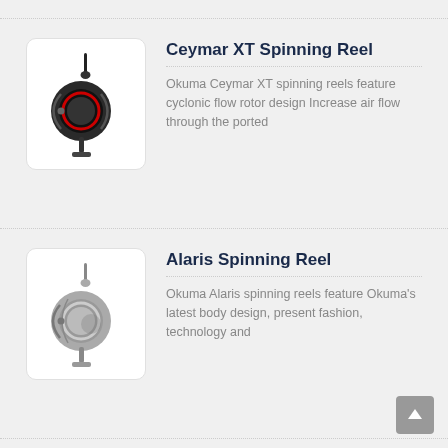Ceymar XT Spinning Reel
[Figure (photo): Photo of Okuma Ceymar XT spinning fishing reel, black with red accents, shown from the side]
Okuma Ceymar XT spinning reels feature cyclonic flow rotor design Increase air flow through the ported
Alaris Spinning Reel
[Figure (photo): Photo of Okuma Alaris spinning fishing reel, silver and black, shown from the side]
Okuma Alaris spinning reels feature Okuma's latest body design, present fashion, technology and